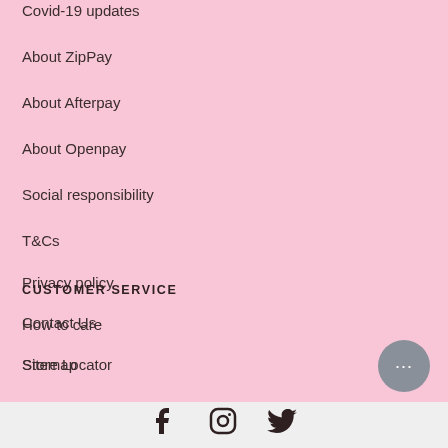Covid-19 updates
About ZipPay
About Afterpay
About Openpay
Social responsibility
T&Cs
Privacy policy
How to care
Sitemap
CUSTOMER SERVICE
Contact Us
Store Locator
[Figure (illustration): Social media icons: Facebook, Instagram, Twitter]